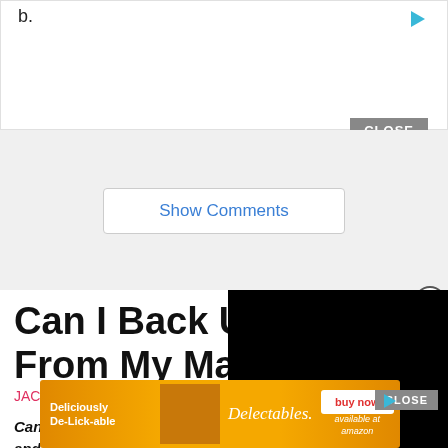b.
Show Comments
Can I Back Up From My Mac?
JAC / By Jac Allen
Can i back up my iphone from my mac? Connect iPhone and your computer with a cable. In the Finder sidebar on your M... ck up iPhon... r
[Figure (screenshot): Black video player overlay in the top right of the article area]
[Figure (other): Advertisement banner for Delectables cat treats on Amazon with buy now button]